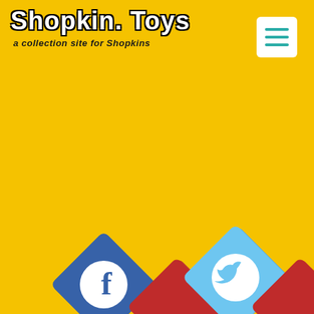Shopkin. Toys
a collection site for Shopkins
[Figure (logo): Hamburger menu button - white rectangle with three teal horizontal lines]
[Figure (infographic): Social media icons: Facebook (blue diamond with white F logo), Instagram/Google (red diamond), Twitter (light blue diamond with white bird logo), another red diamond - all shown as rotated diamond shapes, partially cropped at bottom of page]